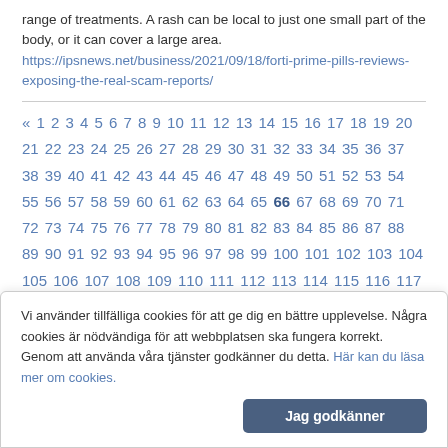range of treatments. A rash can be local to just one small part of the body, or it can cover a large area.
https://ipsnews.net/business/2021/09/18/forti-prime-pills-reviews-exposing-the-real-scam-reports/
« 1 2 3 4 5 6 7 8 9 10 11 12 13 14 15 16 17 18 19 20 21 22 23 24 25 26 27 28 29 30 31 32 33 34 35 36 37 38 39 40 41 42 43 44 45 46 47 48 49 50 51 52 53 54 55 56 57 58 59 60 61 62 63 64 65 66 67 68 69 70 71 72 73 74 75 76 77 78 79 80 81 82 83 84 85 86 87 88 89 90 91 92 93 94 95 96 97 98 99 100 101 102 103 104 105 106 107 108 109 110 111 112 113 114 115 116 117 118 119 120 121 122 123 124 125 126 127 128 129 130 131 132 133 134 135 136 137 138 139 140 141 142 143 144 145 146 147 148 149 150 151 152 153 154 155 156 157 158 159 160 161 162 163 164 165 166 167 168 169 170 171 172 173 174 175 176 177 178 179 180
Vi använder tillfälliga cookies för att ge dig en bättre upplevelse. Några cookies är nödvändiga för att webbplatsen ska fungera korrekt. Genom att använda våra tjänster godkänner du detta. Här kan du läsa mer om cookies.